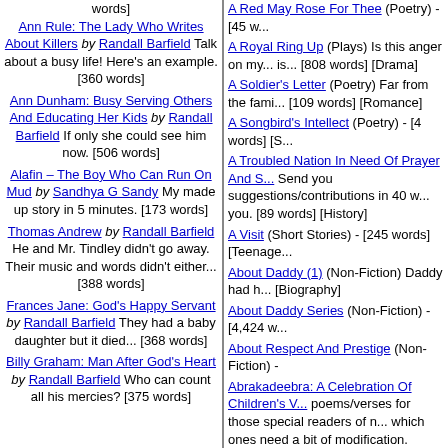Ann Rule: The Lady Who Writes About Killers by Randall Barfield Talk about a busy life! Here's an example. [360 words]
Ann Dunham: Busy Serving Others And Educating Her Kids by Randall Barfield If only she could see him now. [506 words]
Alafin – The Boy Who Can Run On Mud by Sandhya G Sandy My made up story in 5 minutes. [173 words]
Thomas Andrew by Randall Barfield He and Mr. Tindley didn't go away. Their music and words didn't either... [388 words]
Frances Jane: God's Happy Servant by Randall Barfield They had a baby daughter but it died... [368 words]
Billy Graham: Man After God's Heart by Randall Barfield Who can count all his mercies? [375 words]
A Red May Rose For Thee (Poetry) - [45 words]
A Royal Ring Up (Plays) Is this anger on my... is... [808 words] [Drama]
A Soldier's Letter (Poetry) Far from the fami... [109 words] [Romance]
A Songbird's Intellect (Poetry) - [4 words] [S...]
A Troubled Nation In Need Of Prayer And S... Send you suggestions/contributions in 40 w... you. [89 words] [History]
A Visit (Short Stories) - [245 words] [Teenage...]
About Daddy (1) (Non-Fiction) Daddy had h... [Biography]
About Daddy Series (Non-Fiction) - [4,424 w...]
About Respect And Prestige (Non-Fiction) -
Abrakadeebra: A Celebration Of Children's V... poems/verses for those special readers of n... which ones need a bit of modification. Chee...
Abrakadomebra: A 2nd Celebration Of Chilo... anyway) little poems/verses about Frosty, B... children's laughter. Cheers. [2,349 words] [H...]
Abrakadoobra: 100 Short Poems For Childr... trying to write poems for children moreso tha... Maybe neither. Please let me know which o... words] [Fantasy]
Abrakadyebra: A Third Collection Of Childre... poems about Frosty and Jack and Jill and o...
Abstinence (Poetry) - [18 words] [Psycholog...]
Adostos: Little Christmas Poems For Childr...